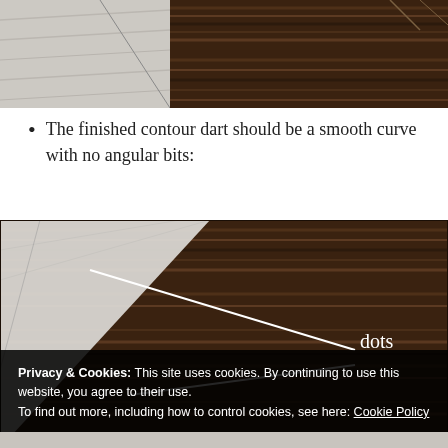[Figure (photo): Top portion of a photo showing white fabric/paper on a dark wood surface, partially cropped at top.]
The finished contour dart should be a smooth curve with no angular bits:
[Figure (photo): Photo of white fabric folded on a dark wood table, with two white lines annotated pointing to 'dots' labels indicating the dart dots on the fabric.]
Privacy & Cookies: This site uses cookies. By continuing to use this website, you agree to their use.
To find out more, including how to control cookies, see here: Cookie Policy
Close and accept